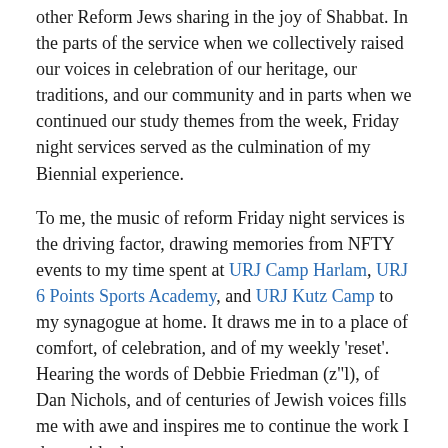other Reform Jews sharing in the joy of Shabbat. In the parts of the service when we collectively raised our voices in celebration of our heritage, our traditions, and our community and in parts when we continued our study themes from the week, Friday night services served as the culmination of my Biennial experience.
To me, the music of reform Friday night services is the driving factor, drawing memories from NFTY events to my time spent at URJ Camp Harlam, URJ 6 Points Sports Academy, and URJ Kutz Camp to my synagogue at home. It draws me in to a place of comfort, of celebration, and of my weekly 'reset'. Hearing the words of Debbie Friedman (z"l), of Dan Nichols, and of centuries of Jewish voices fills me with awe and inspires me to continue the work I do outside the sanctuary.
All of us in that plenary room have unique backgrounds tracing back to our synagogues, camp, NFTY, Israel, and Jewish organizations. We use those backgrounds to strengthen our community as a whole. Sure, I may not know that version of